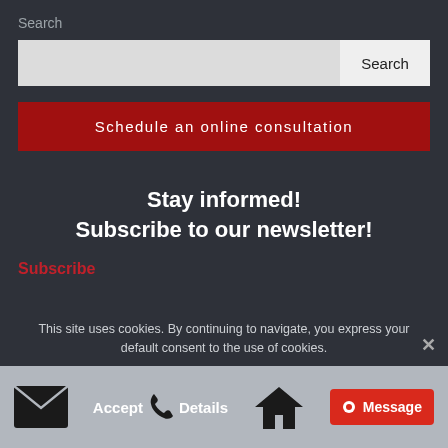Search
Schedule an online consultation
Stay informed!
Subscribe to our newsletter!
Subscribe
This site uses cookies. By continuing to navigate, you express your default consent to the use of cookies.
Accept   Details
Message